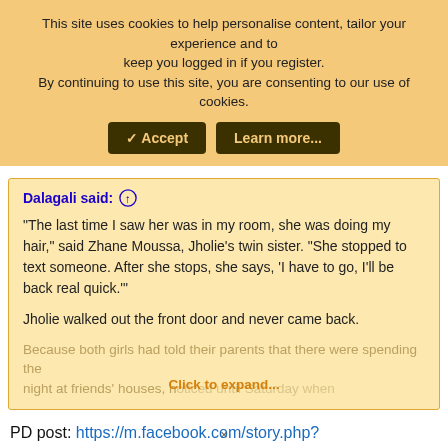This site uses cookies to help personalise content, tailor your experience and to keep you logged in if you register. By continuing to use this site, you are consenting to our use of cookies.
✓ Accept | Learn more...
Dalagali said: ↑
"The last time I saw her was in my room, she was doing my hair," said Zhane Moussa, Jholie's twin sister. "She stopped to text someone. After she stops, she says, 'I have to go, I'll be back real quick.'"
Jholie walked out the front door and never came back.
Because both girls had told their parents that there were spending the night at friends' houses, no one noticed until Saturday when
Click to expand...
PD post: https://m.facebook.com/story.php?
×